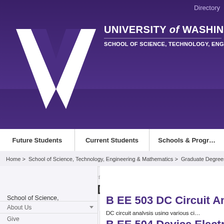[Figure (logo): University of Washington purple header banner with white W logo and university name: UNIVERSITY of WASHINGTON, SCHOOL OF SCIENCE, TECHNOLOGY, ENGINEERING & MATHEMATICS]
Directory
Future Students | Current Students | Schools & Programs
Home > School of Science, Technology, Engineering & Mathematics > Graduate Degrees
Graduate Certificate in Electrical Engineering
Course Descriptions
School of Science, Technology, Engineering & Mathematics
About Us
Give
Events
B EE 503 DC Circuit Analysis
DC circuit analysis using various circuit analysis methods; characteristics of basic circuit elements; Kirchhoff's laws; Thevenin and Norton equivalent circuits; node and mesh methods; transient response of first-order circuits.
B EE 504 Device Electronics